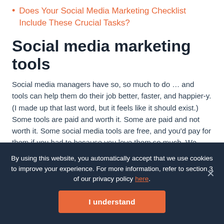Does Your Social Media Marketing Checklist Include These Crucial Tasks?
Social media marketing tools
Social media managers have so, so much to do … and tools can help them do their job better, faster, and happier-y. (I made up that last word, but it feels like it should exist.) Some tools are paid and worth it. Some are paid and not worth it. Some social media tools are free, and you'd pay for them if you had to because you love them so much. We write a lot about tools. ?
By using this website, you automatically accept that we use cookies to improve your experience. For more information, refer to section 3 of our privacy policy here.